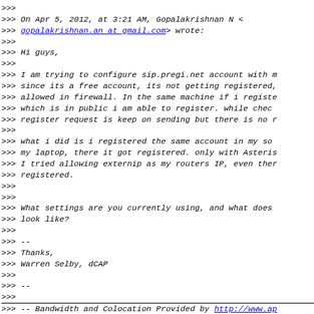>>> 
>>> On Apr 5, 2012, at 3:21 AM, Gopalakrishnan N <
>>> gopalakrishnan.an at gmail.com> wrote:
>>>
>>> Hi guys,
>>>
>>> I am trying to configure sip.pregi.net account with m
>>> since its a free account, its not getting registered,
>>> allowed in firewall. In the same machine if i registe
>>> which is in public i am able to register. while chec
>>> register request is keep on sending but there is no r
>>>
>>> what i did is i registered the same account in my so
>>> my laptop, there it got registered. only with Asteris
>>> I tried allowing externip as my routers IP, even ther
>>> registered.
>>>
>>>
>>> What settings are you currently using, and what does
>>> look like?
>>>
>>> --
>>> Thanks,
>>> Warren Selby, dCAP
>>>
>>> --
>>>
>>> -- Bandwidth and Colocation Provided by http://www.ap
>>> New to Asterisk? Join us for a live introductory webi
>>>             http://ast.asterisk.org/hello